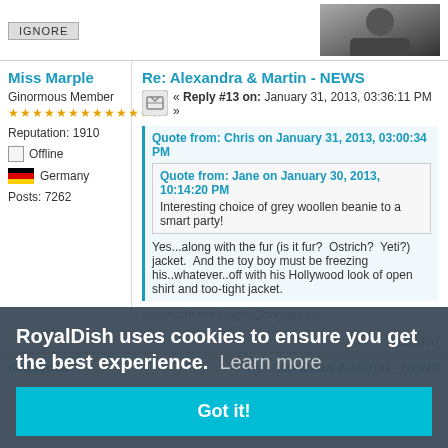IGNORE
[Figure (photo): Partial black and white photo at top right]
Miss Marple
Ginormous Member
★★★★★★★★★★★★★
Reputation: 1910
Offline
Germany
Posts: 7262
Re: Alexandra & Martin - NEWS
« Reply #13 on: January 31, 2013, 03:36:11 PM »
Quote from: Chris on January 31, 2013, 03:00:34 PM
Quote from: Jane on January 30, 2013, 10:14:20 PM
Interesting choice of grey woollen beanie to a smart party!
Yes...along with the fur (is it fur?  Ostrich?  Yeti?)  jacket.  And the toy boy must be freezing  his..whatever..off with his Hollywood look of  open shirt and too-tight jacket.
you made me laugh. Congrats to
500
Logged
IGNORE
RoyalDish uses cookies to ensure you get the best experience.  Learn more
Got it!
debbydeb
Re: Alexandra & Martin - NEWS